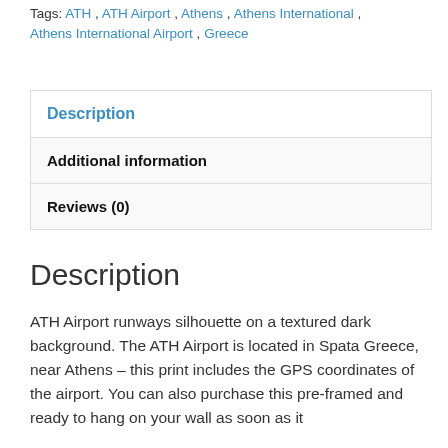Tags: ATH , ATH Airport , Athens , Athens International , Athens International Airport , Greece
| Description |
| Additional information |
| Reviews (0) |
Description
ATH Airport runways silhouette on a textured dark background. The ATH Airport is located in Spata Greece, near Athens – this print includes the GPS coordinates of the airport. You can also purchase this pre-framed and ready to hang on your wall as soon as it arrives.